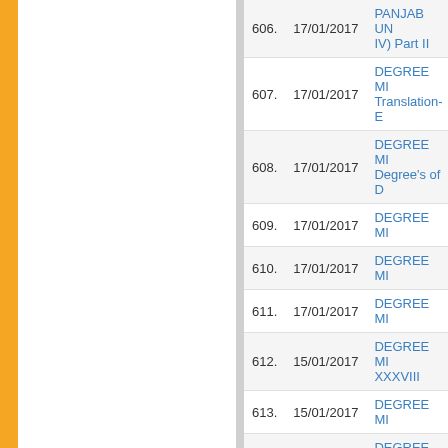| No. | Date | Title |
| --- | --- | --- |
| 606. | 17/01/2017 | PANJAB UN... IV) Part II |
| 607. | 17/01/2017 | DEGREE MI... Translation-E... |
| 608. | 17/01/2017 | DEGREE MI... Degree's of D... |
| 609. | 17/01/2017 | DEGREE MI... |
| 610. | 17/01/2017 | DEGREE MI... |
| 611. | 17/01/2017 | DEGREE MI... |
| 612. | 15/01/2017 | DEGREE MI... XXXVIII |
| 613. | 15/01/2017 | DEGREE MI... |
| 614. | 15/01/2017 | DEGREE MI... |
| 615. | 15/01/2017 | DEGREE MI... |
| 616. | 15/01/2017 | DEGREE MI... |
| 617. | 15/01/2017 | DEGREE MI... |
| 618. | 15/01/2017 | DEGREE MI... |
| 619. | 15/01/2017 | DEGREE MI... |
| 620. | 15/01/2017 | DEGREE MI... |